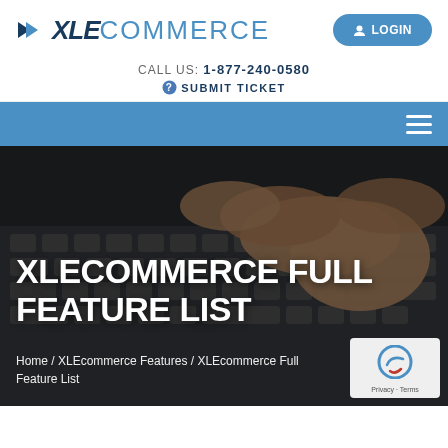XLE COMMERCE | LOGIN
CALL US: 1-877-240-0580
SUBMIT TICKET
[Figure (screenshot): Blue navigation bar with hamburger menu icon on the right]
[Figure (photo): Hero section with a person's hand typing on a laptop keyboard, dark overlay]
XLECOMMERCE FULL FEATURE LIST
Home / XLEcommerce Features / XLEcommerce Full Feature List